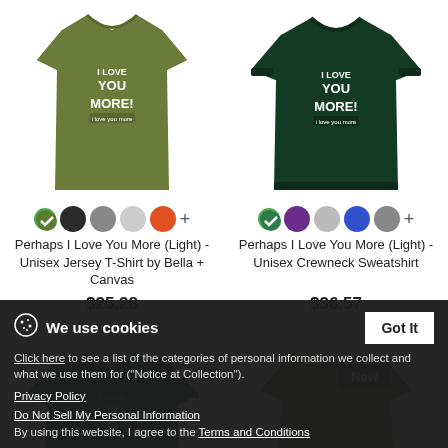[Figure (photo): Olive green unisex jersey t-shirt with 'I Love You More!' text design]
[Figure (photo): Dark green unisex crewneck sweatshirt with 'I Love You More!' text design]
Perhaps I Love You More (Light) - Unisex Jersey T-Shirt by Bella + Canvas
$25.28
Perhaps I Love You More (Light) - Unisex Crewneck Sweatshirt
$36.57
[Figure (photo): Dark green long sleeve shirt with design, partial view]
[Figure (photo): Olive green t-shirt with design, partial view, labeled New]
We use cookies
Click here to see a list of the categories of personal information we collect and what we use them for ("Notice at Collection").
Privacy Policy
Do Not Sell My Personal Information
By using this website, I agree to the Terms and Conditions